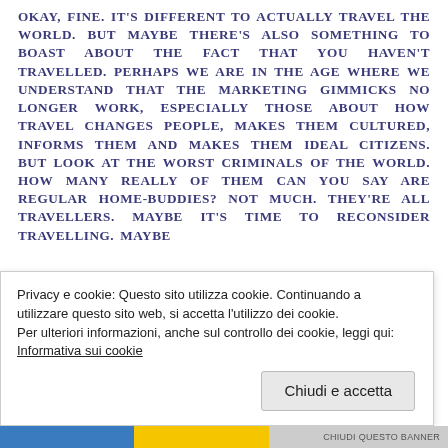OKAY, FINE. IT'S DIFFERENT TO ACTUALLY TRAVEL THE WORLD. BUT MAYBE THERE'S ALSO SOMETHING TO BOAST ABOUT THE FACT THAT YOU HAVEN'T TRAVELLED. PERHAPS WE ARE IN THE AGE WHERE WE UNDERSTAND THAT THE MARKETING GIMMICKS NO LONGER WORK, ESPECIALLY THOSE ABOUT HOW TRAVEL CHANGES PEOPLE, MAKES THEM CULTURED, INFORMS THEM AND MAKES THEM IDEAL CITIZENS. BUT LOOK AT THE WORST CRIMINALS OF THE WORLD. HOW MANY REALLY OF THEM CAN YOU SAY ARE REGULAR HOME-BUDDIES? NOT MUCH. THEY'RE ALL TRAVELLERS. MAYBE IT'S TIME TO RECONSIDER TRAVELLING. MAYBE
Privacy e cookie: Questo sito utilizza cookie. Continuando a utilizzare questo sito web, si accetta l'utilizzo dei cookie. Per ulteriori informazioni, anche sul controllo dei cookie, leggi qui: Informativa sui cookie
Chiudi e accetta